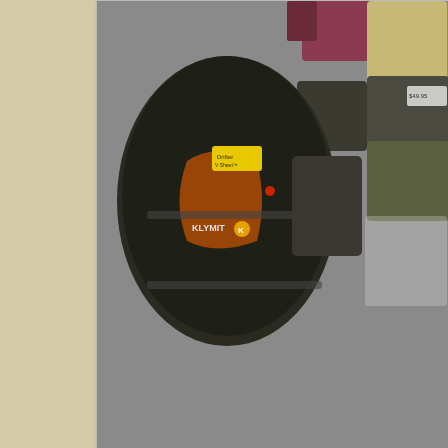[Figure (photo): Photo showing a Klymit sleeping bag/pad in a dark compression sack with yellow label and KLYMIT branding, alongside several other packed sleeping bags and gear items on a gray carpeted floor.]
Top Row:
Klymit Cush. I reviewed this product elsewhere on this blog; it more padding right here" kind of cushion.
SOL Escape Bivvy. Remember that I live in Florida, where it's year; I don't need a substantial sleeping bag at all. Between thi ought to be quite warm.
I don't recall paying $60 for this; I think it was closer to $2 price is because this item may be discontinued. I chose t of its durability:
[Figure (photo): Bottom partial image showing a flame/fire logo at the bottom of the page.]